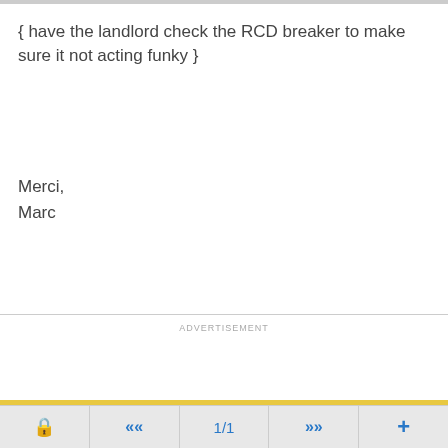{ have the landlord check the RCD breaker to make sure it not acting funky }
Merci,
Marc
ADVERTISEMENT
1/1